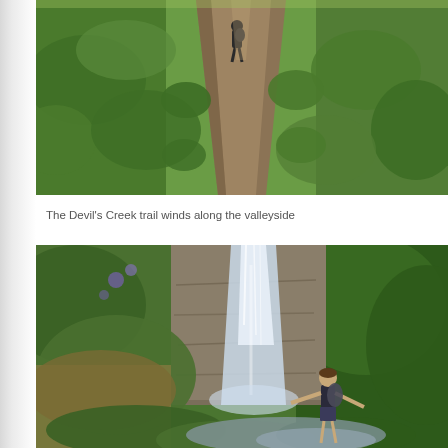[Figure (photo): A hiker walking away along a narrow dirt trail that winds through lush green hillside vegetation, seen from behind.]
The Devil's Creek trail winds along the valleyside
[Figure (photo): A hiker standing with arms outstretched near the base of a cascading waterfall surrounded by dense green vegetation and ferns.]